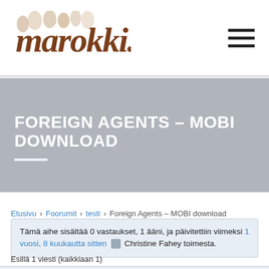[Figure (logo): Marokki.fi website logo with stylized Arabic/decorative lettering in brown/copper tones]
FOREIGN AGENTS – MOBI DOWNLOAD
Etusivu › Foorumit › testi › Foreign Agents – MOBI download
Tämä aihe sisältää 0 vastaukset, 1 ääni, ja päivitettiin viimeksi 1 vuosi, 8 kuukautta sitten Christine Fahey toimesta.
Esillä 1 viesti (kaikkiaan 1)
| Julkaisija | Artikkelit |
| --- | --- |